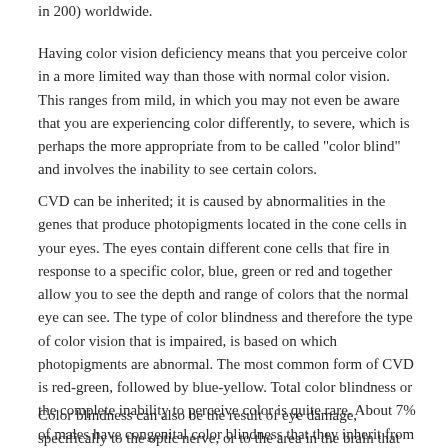in 200) worldwide.
Having color vision deficiency means that you perceive color in a more limited way than those with normal color vision. This ranges from mild, in which you may not even be aware that you are experiencing color differently, to severe, which is perhaps the more appropriate from to be called "color blind" and involves the inability to see certain colors.
CVD can be inherited; it is caused by abnormalities in the genes that produce photopigments located in the cone cells in your eyes. The eyes contain different cone cells that fire in response to a specific color, blue, green or red and together allow you to see the depth and range of colors that the normal eye can see. The type of color blindness and therefore the type of color vision that is impaired, is based on which photopigments are abnormal. The most common form of CVD is red-green, followed by blue-yellow. Total color blindness or the complete inability to perceive color is quite rare. About 7% of males have congenital color blindness that they inherit from the mother's X-chromosome.
Color blindness can also be the result of eye damage, specifically to the optic nerve, or to the area in the brain that processes color. Sometimes